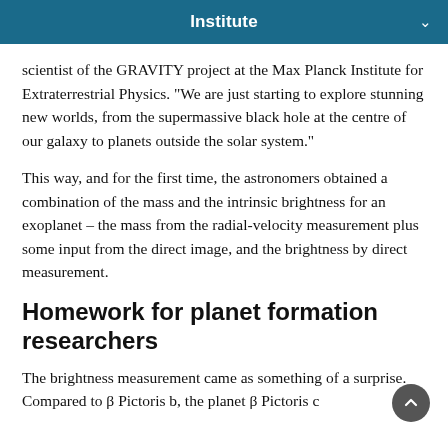Institute
scientist of the GRAVITY project at the Max Planck Institute for Extraterrestrial Physics. "We are just starting to explore stunning new worlds, from the supermassive black hole at the centre of our galaxy to planets outside the solar system."
This way, and for the first time, the astronomers obtained a combination of the mass and the intrinsic brightness for an exoplanet – the mass from the radial-velocity measurement plus some input from the direct image, and the brightness by direct measurement.
Homework for planet formation researchers
The brightness measurement came as something of a surprise. Compared to β Pictoris b, the planet β Pictoris c